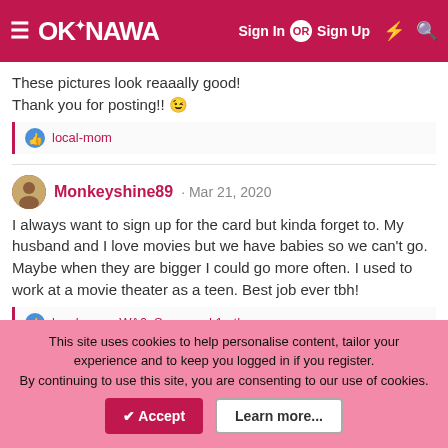OKINAWA — Sign In OR Sign Up
These pictures look reaaally good!
Thank you for posting!! 😉
👍 local-mom
Monkeyshine89 · Mar 21, 2020
I always want to sign up for the card but kinda forget to. My husband and I love movies but we have babies so we can't go. Maybe when they are bigger I could go more often. I used to work at a movie theater as a teen. Best job ever tbh!
👍 local-mom, WA6, Snow and 1 other person
David · Mar 21, 2020
This site uses cookies to help personalise content, tailor your experience and to keep you logged in if you register.
By continuing to use this site, you are consenting to our use of cookies.